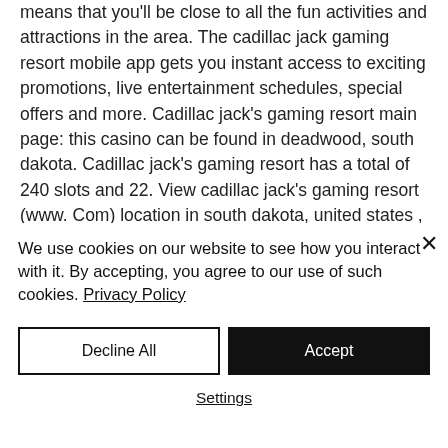means that you'll be close to all the fun activities and attractions in the area. The cadillac jack gaming resort mobile app gets you instant access to exciting promotions, live entertainment schedules, special offers and more. Cadillac jack's gaming resort main page: this casino can be found in deadwood, south dakota. Cadillac jack's gaming resort has a total of 240 slots and 22. View cadillac jack's gaming resort (www. Com) location in south dakota, united states , revenue, industry and description. Discover short videos related to cadillac jack gaming on
We use cookies on our website to see how you interact with it. By accepting, you agree to our use of such cookies. Privacy Policy
Decline All
Accept
Settings